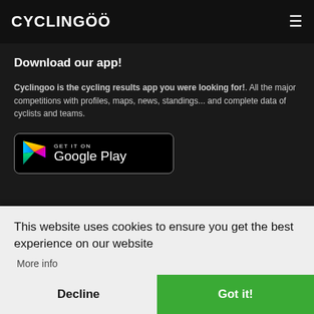CYCLINGOO
Download our app!
Cyclingoo is the cycling results app you were looking for!. All the major competitions with profiles, maps, news, standings... and complete data of cyclists and teams.
[Figure (screenshot): Google Play Store download badge button with play triangle logo and text GET IT ON Google Play]
This website uses cookies to ensure you get the best experience on our website
More info
Decline
Got it!
Who we are